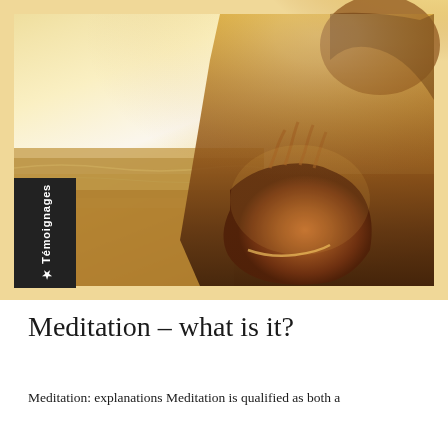[Figure (photo): Woman meditating in prayer pose (hands together) at a beach, strong backlit golden/warm sunlight creating a silhouette effect, ocean in background]
Meditation – what is it?
Meditation: explanations Meditation is qualified as both a